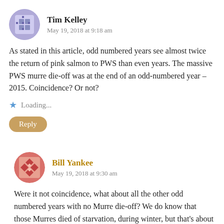[Figure (illustration): Purple/lavender avatar icon with geometric diamond pattern, circular shape]
Tim Kelley
May 19, 2018 at 9:18 am
As stated in this article, odd numbered years see almost twice the return of pink salmon to PWS than even years. The massive PWS murre die-off was at the end of an odd-numbered year – 2015. Coincidence? Or not?
Loading...
Reply
[Figure (illustration): Red/pink avatar icon with diamond geometric pattern, circular shape]
Bill Yankee
May 19, 2018 at 9:30 am
Were it not coincidence, what about all the other odd numbered years with no Murre die-off? We do know that those Murres died of starvation, during winter, but that's about it on facts. And it also appears that other birds (Shearwaters) losing numbers can be correlated with increased pink numbers released from hatcheries but those